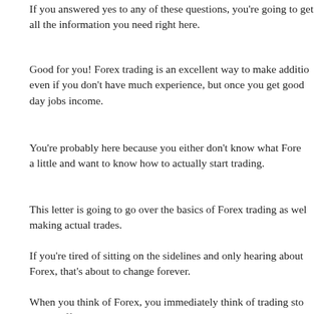If you answered yes to any of these questions, you're going to get all the information you need right here.
Good for you! Forex trading is an excellent way to make additional income even if you don't have much experience, but once you get good it can replace your day jobs income.
You're probably here because you either don't know what Forex is or know a little and want to know how to actually start trading.
This letter is going to go over the basics of Forex trading as well as making actual trades.
If you're tired of sitting on the sidelines and only hearing about Forex, that's about to change forever.
When you think of Forex, you immediately think of trading stocks. It's not much different than trading stocks.